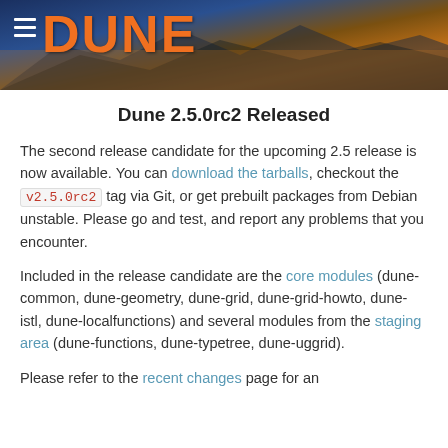[Figure (illustration): DUNE website header banner with orange mountain/desert landscape background and DUNE logo in orange, with hamburger menu icon on the left]
Dune 2.5.0rc2 Released
The second release candidate for the upcoming 2.5 release is now available. You can download the tarballs, checkout the v2.5.0rc2 tag via Git, or get prebuilt packages from Debian unstable. Please go and test, and report any problems that you encounter.
Included in the release candidate are the core modules (dune-common, dune-geometry, dune-grid, dune-grid-howto, dune-istl, dune-localfunctions) and several modules from the staging area (dune-functions, dune-typetree, dune-uggrid).
Please refer to the recent changes page for an